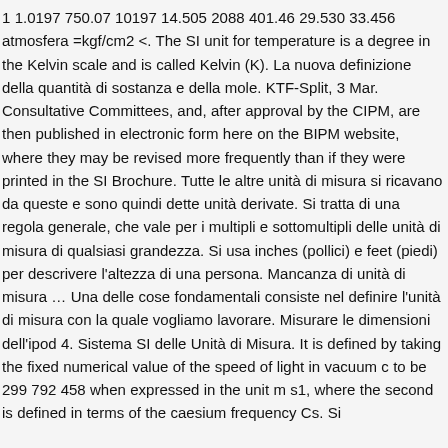1 1.0197 750.07 10197 14.505 2088 401.46 29.530 33.456 atmosfera =kgf/cm2 <. The SI unit for temperature is a degree in the Kelvin scale and is called Kelvin (K). La nuova definizione della quantità di sostanza e della mole. KTF-Split, 3 Mar. Consultative Committees, and, after approval by the CIPM, are then published in electronic form here on the BIPM website, where they may be revised more frequently than if they were printed in the SI Brochure. Tutte le altre unità di misura si ricavano da queste e sono quindi dette unità derivate. Si tratta di una regola generale, che vale per i multipli e sottomultipli delle unità di misura di qualsiasi grandezza. Si usa inches (pollici) e feet (piedi) per descrivere l'altezza di una persona. Mancanza di unità di misura … Una delle cose fondamentali consiste nel definire l'unità di misura con la quale vogliamo lavorare. Misurare le dimensioni dell'ipod 4. Sistema SI delle Unità di Misura. It is defined by taking the fixed numerical value of the speed of light in vacuum c to be 299 792 458 when expressed in the unit m s1, where the second is defined in terms of the caesium frequency Cs. Si